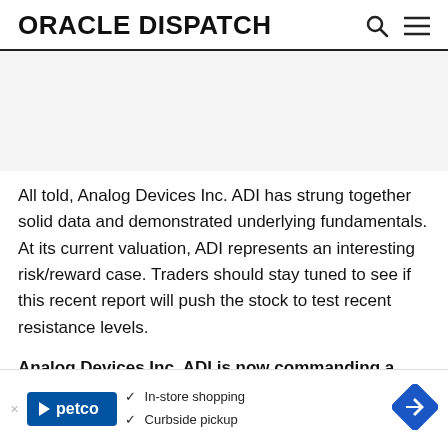ORACLE DISPATCH
All told, Analog Devices Inc. ADI has strung together solid data and demonstrated underlying fundamentals. At its current valuation, ADI represents an interesting risk/reward case. Traders should stay tuned to see if this recent report will push the stock to test recent resistance levels.
Analog Devices Inc. ADI is now commanding a market cap of 42.86B and a float of 368.38M. ADI is increasing its credibility... upside down t...
[Figure (advertisement): Petco advertisement overlay with in-store shopping and curbside pickup options, and a navigation icon]